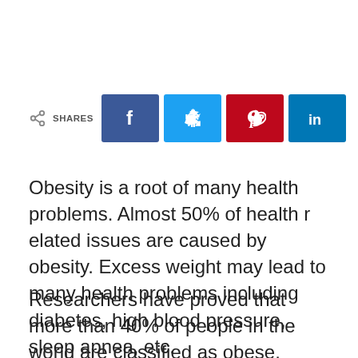[Figure (infographic): Social share bar with share icon, SHARES label, and four social media buttons: Facebook (blue), Twitter (light blue), Pinterest (red), LinkedIn (dark blue)]
Obesity is a root of many health problems. Almost 50% of health r elated issues are caused by obesity. Excess weight may lead to many health problems including diabetes, high blood pressure, sleep apnea, etc.
Researchers have proved that more than 40% of people in the world are classified as obese. Those who have weight problems and they wanted to